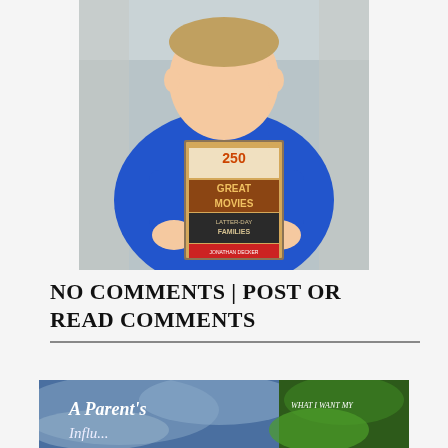[Figure (photo): A young boy wearing a blue Superman t-shirt holding up a book titled '250 Great Movies for Latter-Day Families' by Jonathan Decker, seated at what appears to be a bookstore or library table.]
NO COMMENTS | POST OR READ COMMENTS
[Figure (photo): Partial view of a book cover reading 'A Parent's...' on a blue/cloudy background, with another book partially visible on the right side reading 'What I Want My...' with green foliage.]